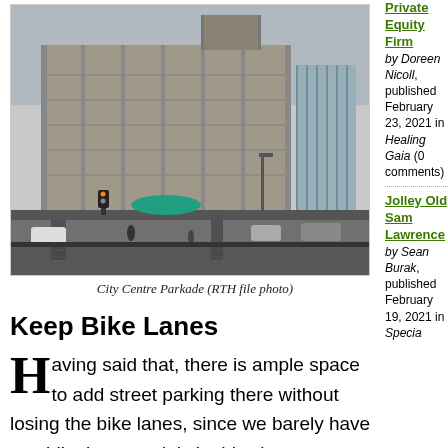[Figure (photo): Aerial/street-level view of the City Centre Parkade, a multi-story concrete parking garage in an urban setting]
City Centre Parkade (RTH file photo)
Keep Bike Lanes
Having said that, there is ample space to add street parking there without losing the bike lanes, since we barely have any bike lanes as it is in this city.
Private Equity Firm
by Doreen Nicoll, published February 23, 2021 in Healing Gaia (0 comments)
Jolley Old Sam Lawrence
by Sean Burak, published February 19, 2021 in Special